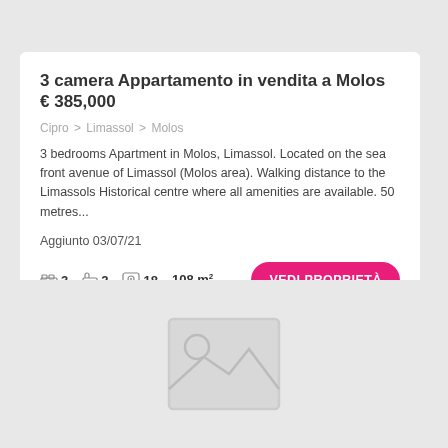3 camera Appartamento in vendita a Molos € 385,000
Cipro > Limassol > Molos
3 bedrooms Apartment in Molos, Limassol. Located on the sea front avenue of Limassol (Molos area). Walking distance to the Limassols Historical centre where all amenities are available. 50 metres...
Aggiunto 03/07/21
3 [bed] 2 [bath] 18 [photo] 108 m²
[Figure (illustration): Placeholder image icon showing a landscape/photo placeholder with mountain and circle symbol in light gray on gray background]